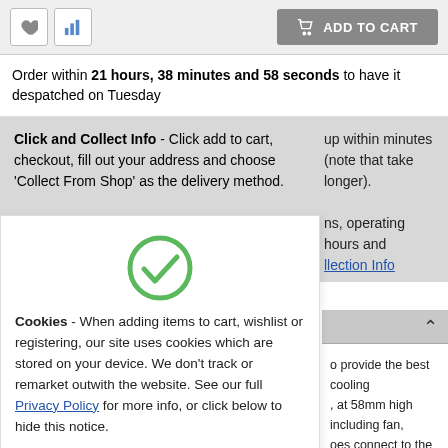[Figure (screenshot): Top toolbar with heart icon, bar chart icon, and 'ADD TO CART' button]
Order within 21 hours, 38 minutes and 58 seconds to have it despatched on Tuesday
Click and Collect Info - Click add to cart, checkout, fill out your address and choose 'Collect From Shop' as the delivery method. [partial text: up within minutes (note that take longer). ns, operating hours and llection Info]
[Figure (screenshot): Cookie consent overlay with green checkmark, cookie notice text with Privacy Policy link, and orange 'That's fine. Hide this message.' button]
o provide the best cooling , at 58mm high including fan, oes connect to the base using gy. A highly efficient 92mm irflow and noise is included to more in case with efficient